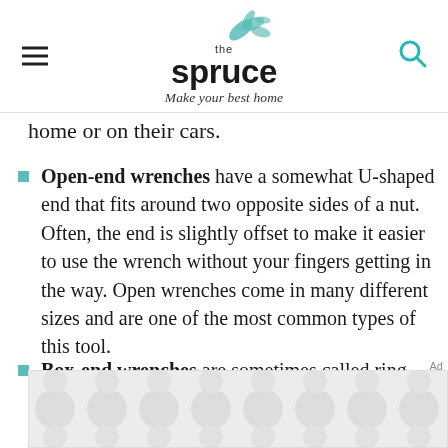the spruce — Make your best home
home or on their cars.
Open-end wrenches have a somewhat U-shaped end that fits around two opposite sides of a nut. Often, the end is slightly offset to make it easier to use the wrench without your fingers getting in the way. Open wrenches come in many different sizes and are one of the most common types of this tool.
Box-end wrenches are sometimes called ring spanners. These tools have a closed or